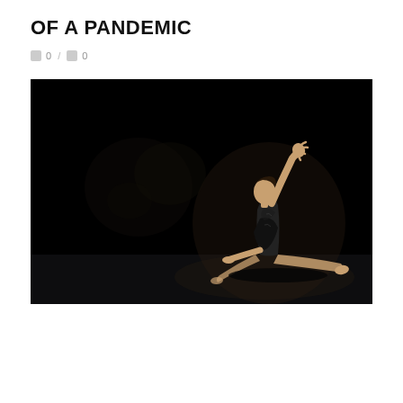OF A PANDEMIC
0 / 0
[Figure (photo): A dancer in a black leotard performing on a dark stage, in a dramatic pose with one arm raised high and body leaning sideways, legs extended in a split-like position on the floor, lit by a spotlight against a black background.]